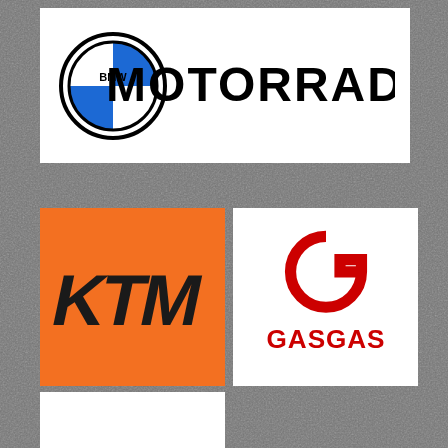[Figure (logo): BMW Motorrad logo — BMW roundel and MOTORRAD wordmark in black on white background]
[Figure (logo): KTM logo — stylized KTM wordmark in black on orange background]
[Figure (logo): GASGAS logo — stylized G icon and GASGAS wordmark in red on white background]
[Figure (logo): WP logo — stylized WP letters in black and red on white background]